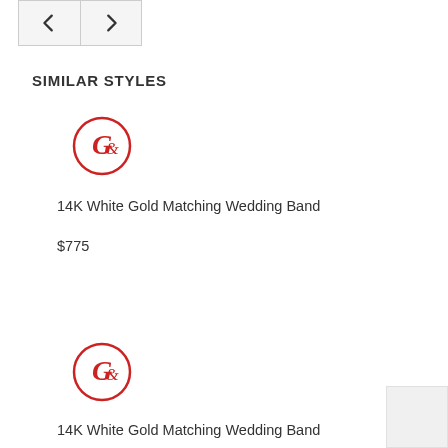[Figure (other): Navigation previous/next arrow buttons side by side in a bordered box]
SIMILAR STYLES
[Figure (logo): Red circular logo with stylized G letter mark]
14K White Gold Matching Wedding Band
$775
[Figure (logo): Red circular logo with stylized G letter mark]
14K White Gold Matching Wedding Band